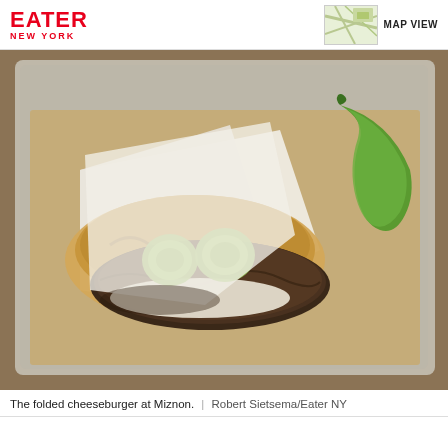EATER NEW YORK
[Figure (photo): A folded cheeseburger in pita bread with pickles and a green chili pepper on a metal tray with brown paper, served at Miznon restaurant.]
The folded cheeseburger at Miznon.  |  Robert Sietsema/Eater NY